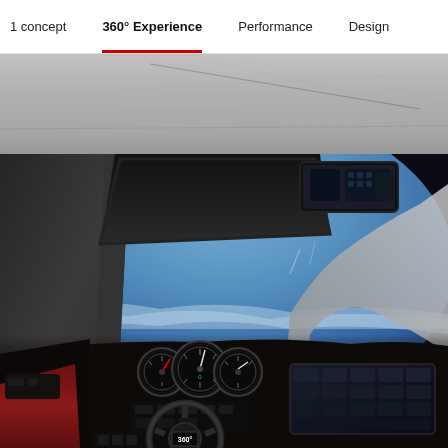1 concept   360° Experience   Performance   Design
[Figure (photo): Top portion: gray concrete ceiling/overhang viewed from below, showing texture and linear marks]
[Figure (photo): Car interior 360° view: steering wheel with '360°' badge on hub, instrument cluster with three gauges, large windshield showing blue sky and curved concrete architecture, rearview mirror top right, infotainment screen right, red leather seat visible lower left, dark dashboard]